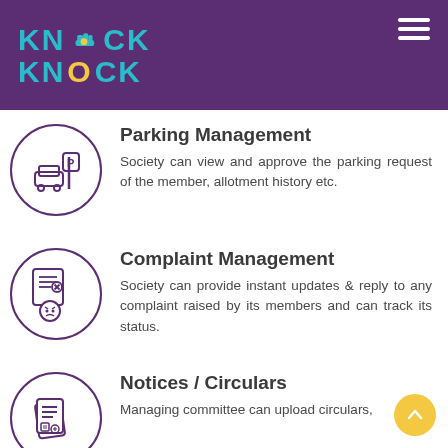[Figure (logo): Knock Knock app logo with teal text and fist icon on purple header background]
Parking Management
Society can view and approve the parking request of the member, allotment history etc.
Complaint Management
Society can provide instant updates & reply to any complaint raised by its members and can track its status.
Notices / Circulars
Managing committee can upload circulars,